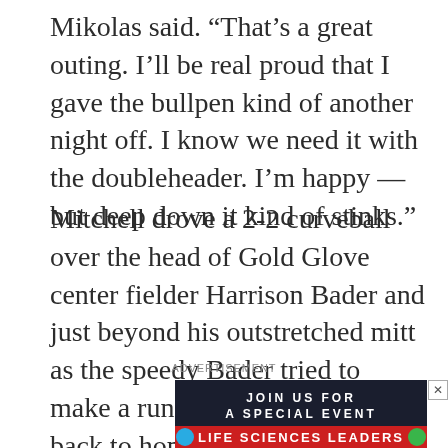Mikolas said. “That’s a great outing. I’ll be real proud that I gave the bullpen kind of another night off. I know we need it with the doubleheader. I’m happy — but deep down it kind of stinks.”
Mitchell drove a 2-2 curveball over the head of Gold Glove center fielder Harrison Bader and just beyond his outstretched mitt as the speedy Bader tried to make a running catch with his back to home plate.
[Figure (other): Advertisement banner: dark navy background with bold white text 'JOIN US FOR A SPECIAL EVENT' and a red band below reading 'LIFE SCIENCES LEADERS' with colored dots on sides]